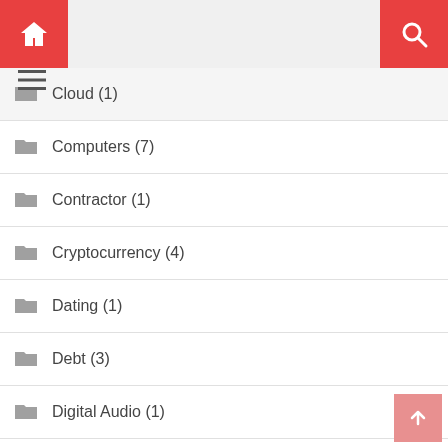Navigation header with home, menu, and search
Cloud (1)
Computers (7)
Contractor (1)
Cryptocurrency (4)
Dating (1)
Debt (3)
Digital Audio (1)
Disney (1)
Diy (1)
Drinks (1)